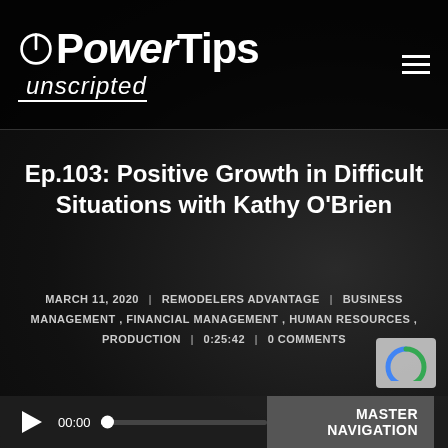[Figure (logo): PowerTips Unscripted podcast logo in white text on dark background, with hamburger menu icon on right]
Ep.103: Positive Growth in Difficult Situations with Kathy O'Brien
MARCH 11, 2020 | REMODELERS ADVANTAGE | BUSINESS MANAGEMENT, FINANCIAL MANAGEMENT, HUMAN RESOURCES, PRODUCTION | 0:25:42 | 0 COMMENTS
[Figure (screenshot): Audio player bar at bottom showing play button, 00:00 time, progress bar, and MASTER NAVIGATION button]